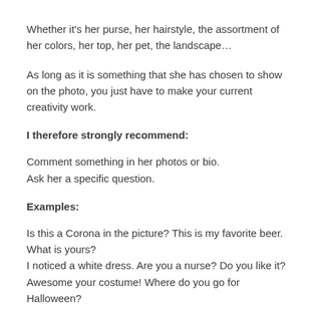Whether it's her purse, her hairstyle, the assortment of her colors, her top, her pet, the landscape…
As long as it is something that she has chosen to show on the photo, you just have to make your current creativity work.
I therefore strongly recommend:
Comment something in her photos or bio.
Ask her a specific question.
Examples:
Is this a Corona in the picture? This is my favorite beer. What is yours?
I noticed a white dress. Are you a nurse? Do you like it?
Awesome your costume! Where do you go for Halloween?
Find common interests.